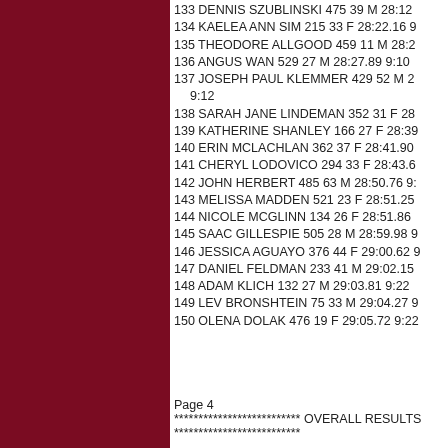133 DENNIS SZUBLINSKI 475 39 M 28:12
134 KAELEA ANN SIM 215 33 F 28:22.16 9
135 THEODORE ALLGOOD 459 11 M 28:2
136 ANGUS WAN 529 27 M 28:27.89 9:10
137 JOSEPH PAUL KLEMMER 429 52 M 2 9:12
138 SARAH JANE LINDEMAN 352 31 F 28
139 KATHERINE SHANLEY 166 27 F 28:39
140 ERIN MCLACHLAN 362 37 F 28:41.90
141 CHERYL LODOVICO 294 33 F 28:43.6
142 JOHN HERBERT 485 63 M 28:50.76 9:
143 MELISSA MADDEN 521 23 F 28:51.25
144 NICOLE MCGLINN 134 26 F 28:51.86
145 SAAC GILLESPIE 505 28 M 28:59.98 9
146 JESSICA AGUAYO 376 44 F 29:00.62 9
147 DANIEL FELDMAN 233 41 M 29:02.15
148 ADAM KLICH 132 27 M 29:03.81 9:22
149 LEV BRONSHTEIN 75 33 M 29:04.27 9
150 OLENA DOLAK 476 19 F 29:05.72 9:22
Page 4
************************** OVERALL RESULTS
**************************